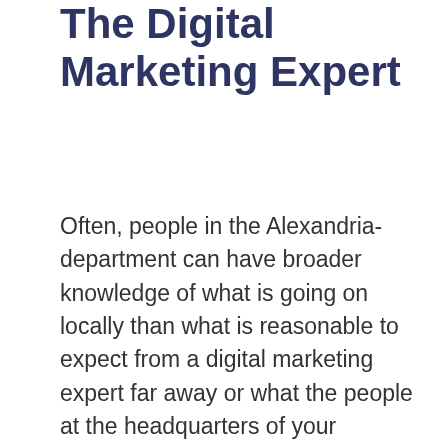The Digital Marketing Expert
Often, people in the Alexandria-department can have broader knowledge of what is going on locally than what is reasonable to expect from a digital marketing expert far away or what the people at the headquarters of your company know about. Although, this does not necessarily mean that it is good